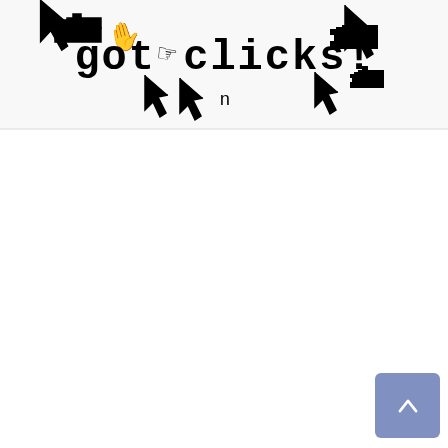[Figure (screenshot): Top banner of a webpage showing decorative pixelated cursor/hand icons and the text 'got clicks!' in bold monospace font, surrounded by pixel-art style pointing hand and arrow cursor graphics]
[Figure (screenshot): A small navigation button in the upper left area showing an upward-pointing chevron (^) on a white rounded rectangle card]
[Figure (screenshot): A scroll-to-top button in the bottom right corner — a blue-grey rounded square with an upward arrow chevron in white]